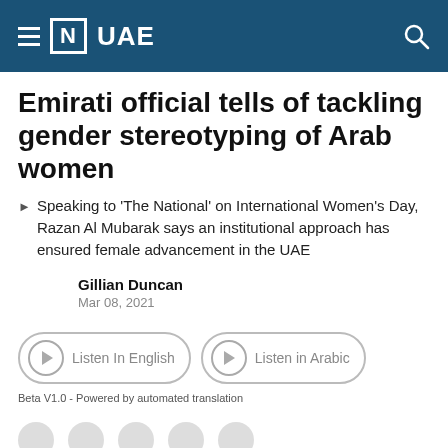[N] UAE
Emirati official tells of tackling gender stereotyping of Arab women
Speaking to 'The National' on International Women's Day, Razan Al Mubarak says an institutional approach has ensured female advancement in the UAE
Gillian Duncan
Mar 08, 2021
[Figure (other): Audio player buttons: Listen In English and Listen in Arabic, with Beta V1.0 - Powered by automated translation label]
Beta V1.0 - Powered by automated translation